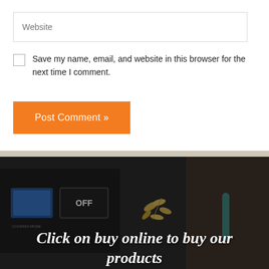Website
Save my name, email, and website in this browser for the next time I comment.
Post Comment »
[Figure (photo): Dark blurred kitchen appliance background with a gold leaf decorative element and teal utensil, with overlaid italic bold white text reading 'Click on buy online to buy our products']
Click on buy online to buy our products